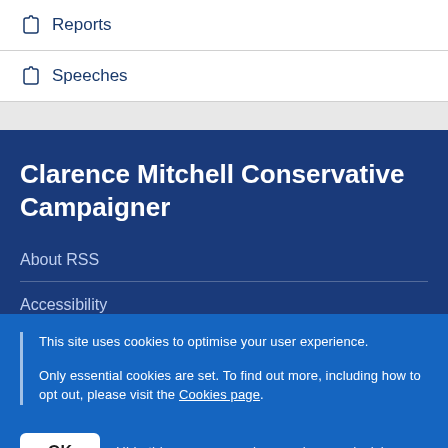Reports
Speeches
Clarence Mitchell Conservative Campaigner
About RSS
Accessibility
This site uses cookies to optimise your user experience.

Only essential cookies are set. To find out more, including how to opt out, please visit the Cookies page.
OK  Hide this message and remember my decision